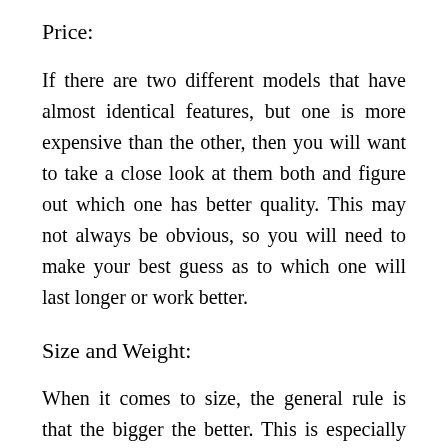Price:
If there are two different models that have almost identical features, but one is more expensive than the other, then you will want to take a close look at them both and figure out which one has better quality. This may not always be obvious, so you will need to make your best guess as to which one will last longer or work better.
Size and Weight:
When it comes to size, the general rule is that the bigger the better. This is especially true if you plan on using your new for backpacking or other activities where space and weight are a concern.